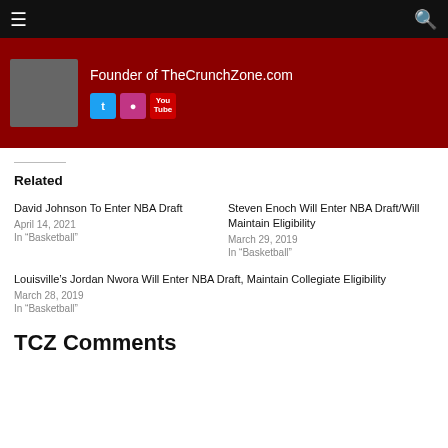≡  [navigation bar]  🔍
[Figure (other): Red banner with avatar photo placeholder, founder text 'Founder of TheCrunchZone.com', and social media icons for Twitter, Instagram, YouTube]
Related
David Johnson To Enter NBA Draft
April 14, 2021
In "Basketball"
Steven Enoch Will Enter NBA Draft/Will Maintain Eligibility
March 29, 2019
In "Basketball"
Louisville's Jordan Nwora Will Enter NBA Draft, Maintain Collegiate Eligibility
March 28, 2019
In "Basketball"
TCZ Comments